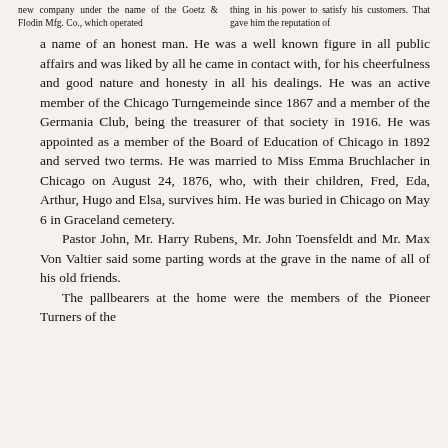new company under the name of the Goetz & Flodin Mfg. Co., which operated
thing in his power to satisfy his customers. That gave him the reputation of
a name of an honest man. He was a well known figure in all public affairs and was liked by all he came in contact with, for his cheerfulness and good nature and honesty in all his dealings. He was an active member of the Chicago Turngemeinde since 1867 and a member of the Germania Club, being the treasurer of that society in 1916. He was appointed as a member of the Board of Education of Chicago in 1892 and served two terms. He was married to Miss Emma Bruchlacher in Chicago on August 24, 1876, who, with their children, Fred, Eda, Arthur, Hugo and Elsa, survives him. He was buried in Chicago on May 6 in Graceland cemetery.
Pastor John, Mr. Harry Rubens, Mr. John Toensfeldt and Mr. Max Von Valtier said some parting words at the grave in the name of all of his old friends.
The pallbearers at the home were the members of the Pioneer Turners of the